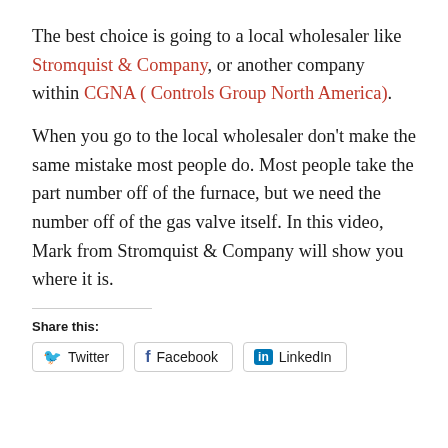The best choice is going to a local wholesaler like Stromquist & Company, or another company within CGNA ( Controls Group North America).
When you go to the local wholesaler don't make the same mistake most people do. Most people take the part number off of the furnace, but we need the number off of the gas valve itself. In this video, Mark from Stromquist & Company will show you where it is.
Share this: Twitter Facebook LinkedIn